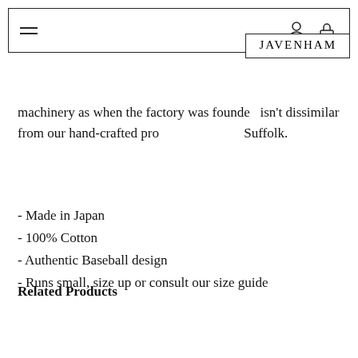JAVENHAM
machinery as when the factory was founded isn't dissimilar from our hand-crafted production here in Suffolk.
- Made in Japan
- 100% Cotton
- Authentic Baseball design
- Runs small, size up or consult our size guide
Related Products